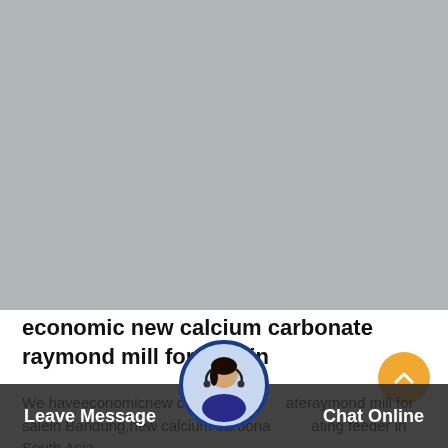[Figure (photo): Large grey placeholder image occupying the top portion of the page]
economic new calcium carbonate raymond mill for sale in
We haveeconomicnew calcium carbonate raymond mill for salein Bandung,new calcium carbonate vibrating feeder in South Asia